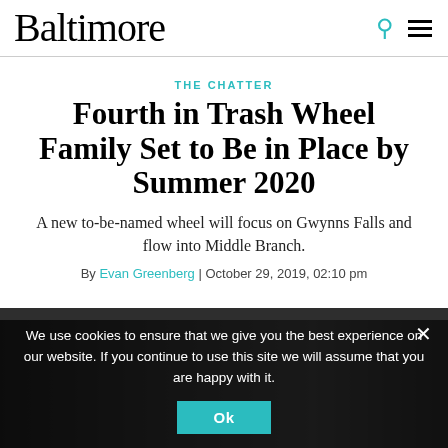Baltimore
THE CHATTER
Fourth in Trash Wheel Family Set to Be in Place by Summer 2020
A new to-be-named wheel will focus on Gwynns Falls and flow into Middle Branch.
By Evan Greenberg | October 29, 2019, 02:10 pm
We use cookies to ensure that we give you the best experience on our website. If you continue to use this site we will assume that you are happy with it.